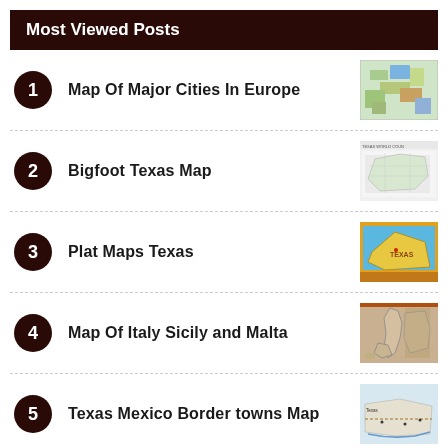Most Viewed Posts
Map Of Major Cities In Europe
Bigfoot Texas Map
Plat Maps Texas
Map Of Italy Sicily and Malta
Texas Mexico Border towns Map